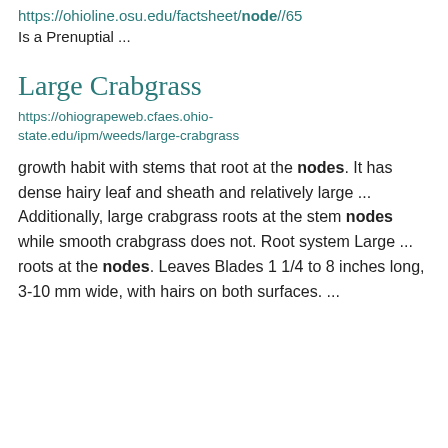https://ohioline.osu.edu/factsheet/node//65
Is a Prenuptial ...
Large Crabgrass
https://ohiograpeweb.cfaes.ohio-state.edu/ipm/weeds/large-crabgrass
growth habit with stems that root at the nodes. It has dense hairy leaf and sheath and relatively large ... Additionally, large crabgrass roots at the stem nodes while smooth crabgrass does not. Root system Large ... roots at the nodes. Leaves Blades 1 1/4 to 8 inches long, 3-10 mm wide, with hairs on both surfaces. ...